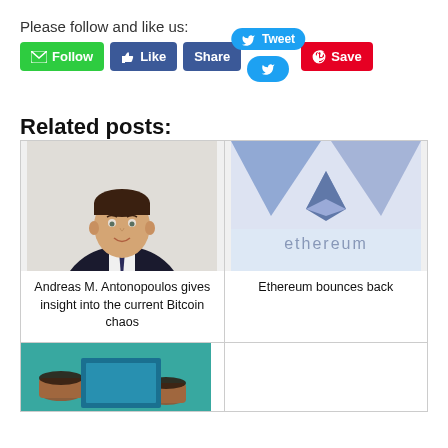Please follow and like us:
[Figure (screenshot): Row of social media buttons: Follow (green), Like (blue), Share (blue), Tweet (light blue bubble), Save (red/Pinterest)]
Related posts:
[Figure (photo): Headshot of Andreas M. Antonopoulos in suit and tie]
Andreas M. Antonopoulos gives insight into the current Bitcoin chaos
[Figure (logo): Ethereum logo with blue diamond shape and 'ethereum' text below]
Ethereum bounces back
[Figure (photo): Coffee cups on teal/blue surface (partial, bottom row)]